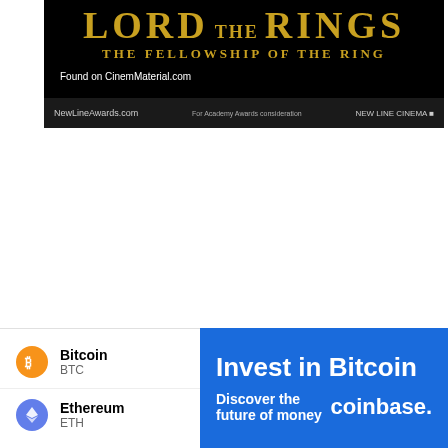[Figure (screenshot): Lord of the Rings: The Fellowship of the Ring movie banner ad on black background with golden text. Shows 'LORD OF THE RINGS THE FELLOWSHIP OF THE RING' title with 'Found on CinemMaterial.com' badge and 'NewLineAwards.com' URL at bottom.]
[Figure (screenshot): Coinbase advertisement banner at bottom of page. Left side white panel shows Bitcoin (BTC) with orange B icon and Ethereum (ETH) with blue diamond icon. Right blue panel shows 'Invest in Bitcoin' in large bold white text, 'Discover the future of money' and 'coinbase.' branding.]